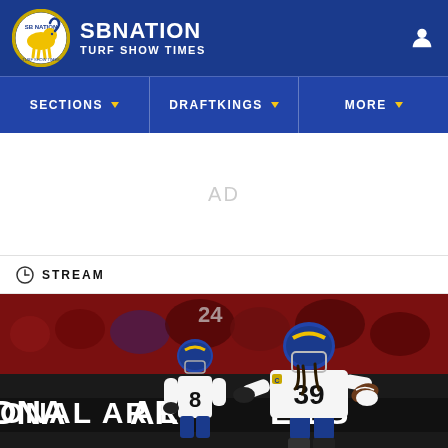SBNation - Turf Show Times
SECTIONS | DRAFTKINGS | MORE
AD
STREAM
[Figure (photo): NFL football action photo: Los Angeles Rams player #39 running with the ball in a game, with player #8 and crowd visible in background. Signage reads 'ONAL AR L' (partial National Cardinals). Blue and gold Rams uniforms.]